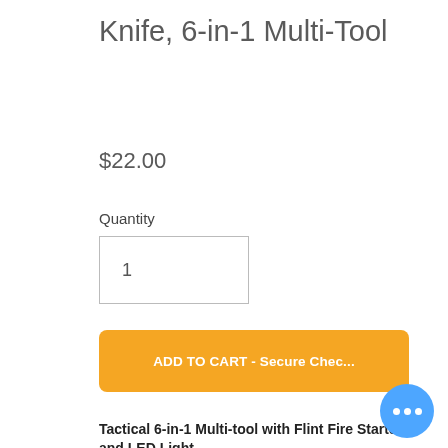Knife, 6-in-1 Multi-Tool
$22.00
Quantity
1
ADD TO CART - Secure Chec...
Tactical 6-in-1 Multi-tool with Flint Fire Starter and LED Light
This sturdy spring assisted folding lock-blade tactical knife is perfect for hunting, camping, hiking, or any outdoor or emergency use.  A must-